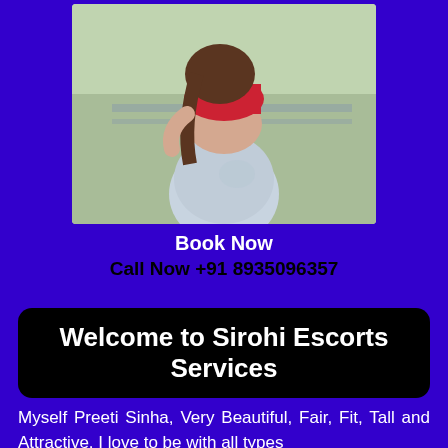[Figure (photo): A woman in a red crop top and light blue jeans, viewed from behind, posing outdoors with a blurred green background.]
Book Now
Call Now +91 8935096357
Welcome to Sirohi Escorts Services
Myself Preeti Sinha, Very Beautiful, Fair, Fit, Tall and Attractive. I love to be with all types